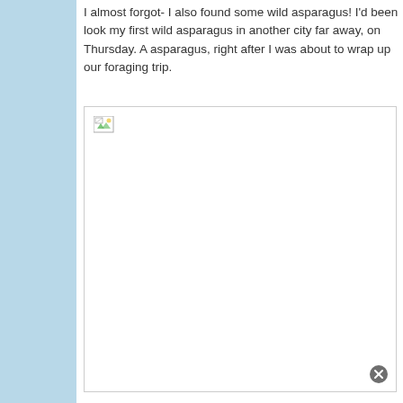I almost forgot- I also found some wild asparagus! I'd been look my first wild asparagus in another city far away, on Thursday. A asparagus, right after I was about to wrap up our foraging trip.
[Figure (photo): A large image placeholder with a broken image icon in the top-left corner, indicating a missing or unloaded image. A close button (X in circle) appears in the bottom-right corner of the image frame.]